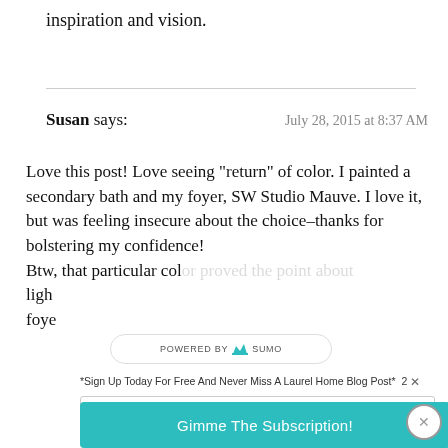inspiration and vision.
Susan says:
July 28, 2015 at 8:37 AM
Love this post! Love seeing “return” of color. I painted a secondary bath and my foyer, SW Studio Mauve. I love it, but was feeling insecure about the choice–thanks for bolstering my confidence! Btw, that particular color proved the point about ligh foye
POWERED BY SUMO
*Sign Up Today For Free And Never Miss A Laurel Home Blog Post*
Enter your Email
Gimme The Subscription!